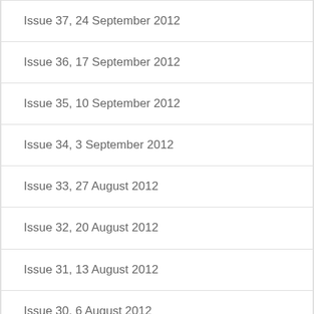Issue 37, 24 September 2012
Issue 36, 17 September 2012
Issue 35, 10 September 2012
Issue 34, 3 September 2012
Issue 33, 27 August 2012
Issue 32, 20 August 2012
Issue 31, 13 August 2012
Issue 30, 6 August 2012
Issue 29, 30 July 2012